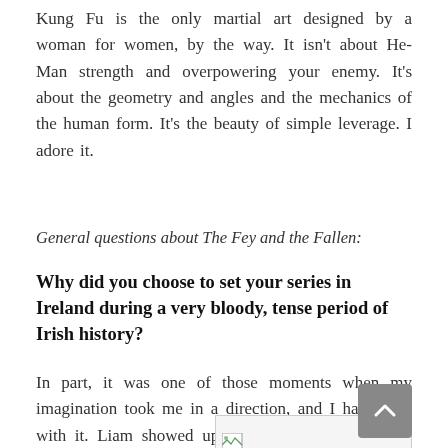Kung Fu is the only martial art designed by a woman for women, by the way. It isn't about He-Man strength and overpowering your enemy. It's about the geometry and angles and the mechanics of the human form. It's the beauty of simple leverage. I adore it.
General questions about The Fey and the Fallen:
Why did you choose to set your series in Ireland during a very bloody, tense period of Irish history?
In part, it was one of those moments when my imagination took me in a direction, and I had to go with it. Liam showed up one day in a short story. Charles de Lint read it and wisely asked me where the rest of the